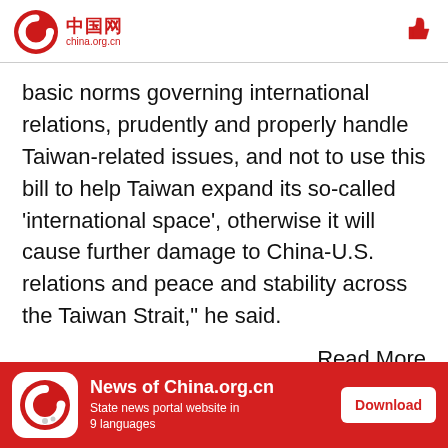中国网 china.org.cn
basic norms governing international relations, prudently and properly handle Taiwan-related issues, and not to use this bill to help Taiwan expand its so-called 'international space', otherwise it will cause further damage to China-U.S. relations and peace and stability across the Taiwan Strait," he said.
Read More
News of China.org.cn State news portal website in 9 languages Download